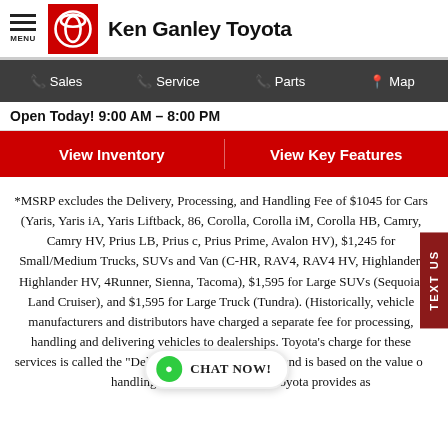Ken Ganley Toyota
Sales  Service  Parts  Map
Open Today! 9:00 AM – 8:00 PM
View Inventory  |  View Key Features
*MSRP excludes the Delivery, Processing, and Handling Fee of $1045 for Cars (Yaris, Yaris iA, Yaris Liftback, 86, Corolla, Corolla iM, Corolla HB, Camry, Camry HV, Prius LB, Prius c, Prius Prime, Avalon HV), $1,245 for Small/Medium Trucks, SUVs and Van (C-HR, RAV4, RAV4 HV, Highlander, Highlander HV, 4Runner, Sienna, Tacoma), $1,595 for Large SUVs (Sequoia, Land Cruiser), and $1,595 for Large Truck (Tundra). (Historically, vehicle manufacturers and distributors have charged a separate fee for processing, handling and delivering vehicles to dealerships. Toyota's charge for these services is called the "Delivery, Processing and Handling" Fee and is based on the value of these processing, handling and delivery services Toyota provides as